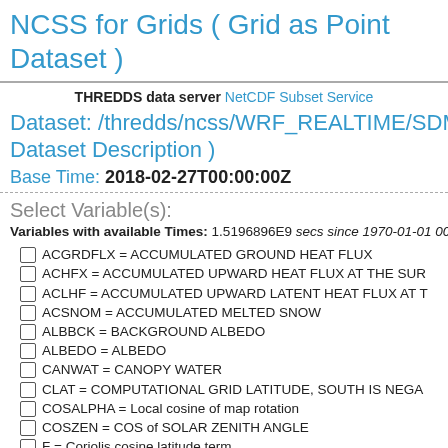NCSS for Grids ( Grid as Point Dataset )
THREDDS data server NetCDF Subset Service
Dataset: /thredds/ncss/WRF_REALTIME/SDMC Dataset Description )
Base Time: 2018-02-27T00:00:00Z
Select Variable(s):
Variables with available Times: 1.5196896E9 secs since 1970-01-01 00:0
ACGRDFLX = ACCUMULATED GROUND HEAT FLUX
ACHFX = ACCUMULATED UPWARD HEAT FLUX AT THE SUR
ACLHF = ACCUMULATED UPWARD LATENT HEAT FLUX AT T
ACSNOM = ACCUMULATED MELTED SNOW
ALBBCK = BACKGROUND ALBEDO
ALBEDO = ALBEDO
CANWAT = CANOPY WATER
CLAT = COMPUTATIONAL GRID LATITUDE, SOUTH IS NEGA
COSALPHA = Local cosine of map rotation
COSZEN = COS of SOLAR ZENITH ANGLE
F = Coriolis cosine latitude term